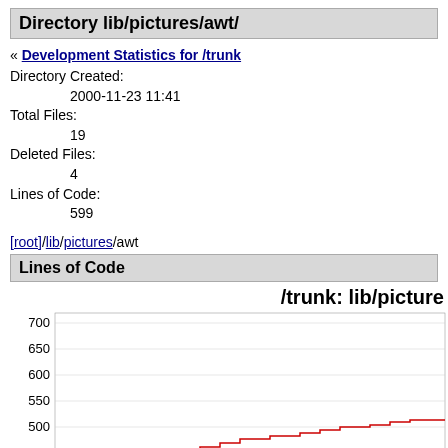Directory lib/pictures/awt/
« Development Statistics for /trunk
Directory Created:
2000-11-23 11:41
Total Files:
19
Deleted Files:
4
Lines of Code:
599
[root]/lib/pictures/awt
Lines of Code
[Figure (line-chart): Line chart showing lines of code over time, y-axis from 450 to 700, red step line going from approximately 420 upward to around 490-500]